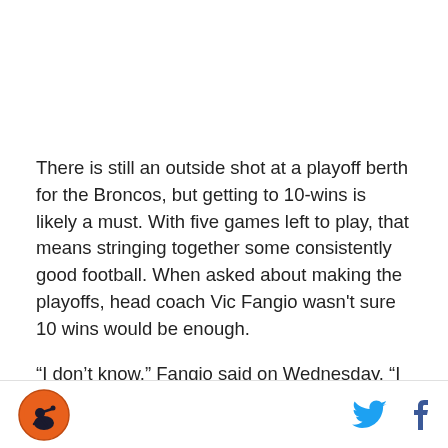There is still an outside shot at a playoff berth for the Broncos, but getting to 10-wins is likely a must. With five games left to play, that means stringing together some consistently good football. When asked about making the playoffs, head coach Vic Fangio wasn't sure 10 wins would be enough.
“I don’t know,” Fangio said on Wednesday. “I don’t know. We’ve never had seven playoff berths [and]
Logo and social media icons